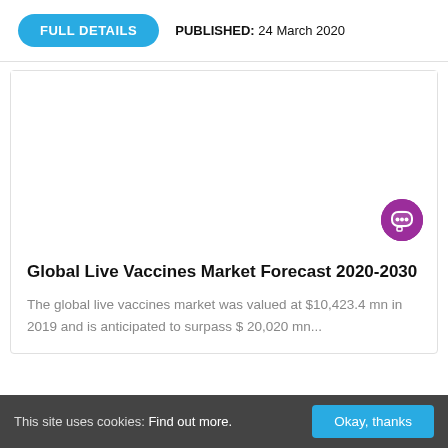FULL DETAILS   PUBLISHED: 24 March 2020
[Figure (other): White blank card image area with a purple chat bubble icon in the bottom right corner]
Global Live Vaccines Market Forecast 2020-2030
The global live vaccines market was valued at $10,423.4 mn in 2019 and is anticipated to surpass $20,020 mn...
This site uses cookies: Find out more.   Okay, thanks